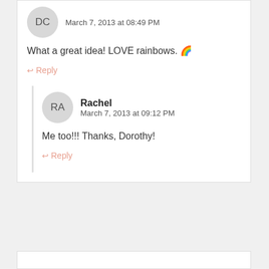DC — March 7, 2013 at 08:49 PM
What a great idea! LOVE rainbows. 🌈
↩ Reply
Rachel — March 7, 2013 at 09:12 PM
Me too!!! Thanks, Dorothy!
↩ Reply